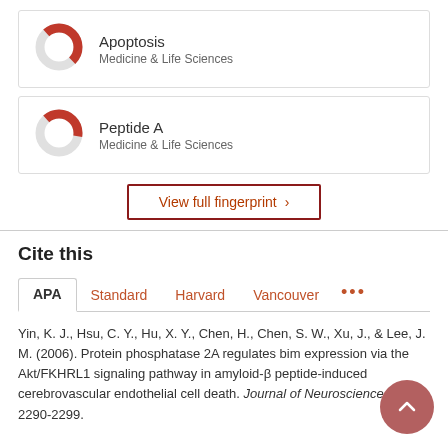[Figure (donut-chart): Donut chart for Apoptosis, approximately 50% filled in red]
Apoptosis
Medicine & Life Sciences
[Figure (donut-chart): Donut chart for Peptide A, approximately 40% filled in red]
Peptide A
Medicine & Life Sciences
View full fingerprint >
Cite this
APA  Standard  Harvard  Vancouver  ...
Yin, K. J., Hsu, C. Y., Hu, X. Y., Chen, H., Chen, S. W., Xu, J., & Lee, J. M. (2006). Protein phosphatase 2A regulates bim expression via the Akt/FKHRL1 signaling pathway in amyloid-β peptide-induced cerebrovascular endothelial cell death. Journal of Neuroscience, 26(8), 2290-2299.